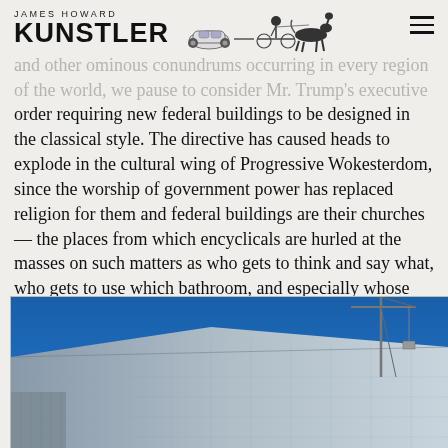JAMES HOWARD KUNSTLER
In the space between past and future Deep State seditions, and other ominous conundrums occurring in every region of the world, we pause to consider Mr. Trump's executive order requiring new federal buildings to be designed in the classical style. The directive has caused heads to explode in the cultural wing of Progressive Wokesterdom, since the worship of government power has replaced religion for them and federal buildings are their churches — the places from which encyclicals are hurled at the masses on such matters as who gets to think and say what, who gets to use which bathroom, and especially whose life and livelihood can be destroyed for being branded a heretic.
[Figure (photo): Photograph of a modern government building with a blue sky background, showing angular glass and metal facade architecture.]